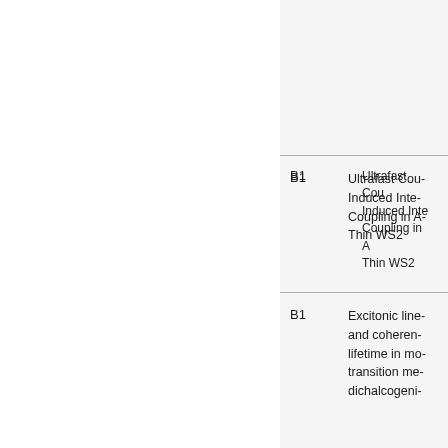| Code | Title |
| --- | --- |
| B1 | Ultrafast Coulomb-Induced Interlayer Coupling in Atomically Thin WS2 |
| B1 | Excitonic linewidth and coherence lifetime in monolayer transition metal dichalcogenides |